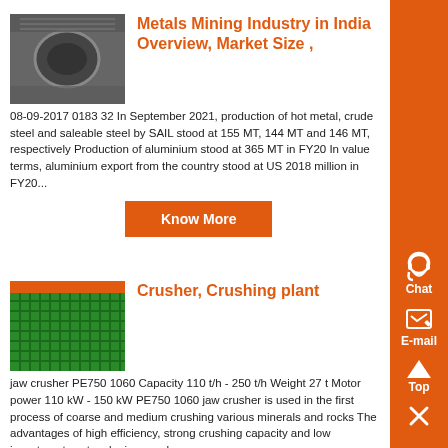Metals Mining Industry in India Overview, Market Size ,
08-09-2017 0183 32 In September 2021, production of hot metal, crude steel and saleable steel by SAIL stood at 155 MT, 144 MT and 146 MT, respectively Production of aluminium stood at 365 MT in FY20 In value terms, aluminium export from the country stood at US 2018 million in FY20...
Know More
Crusher, Crushing plant
jaw crusher PE750 1060 Capacity 110 t/h - 250 t/h Weight 27 t Motor power 110 kW - 150 kW PE750 1060 jaw crusher is used in the first process of coarse and medium crushing various minerals and rocks The advantages of high efficiency, strong crushing capacity and low investment cost make jaw crusher ....
Know More